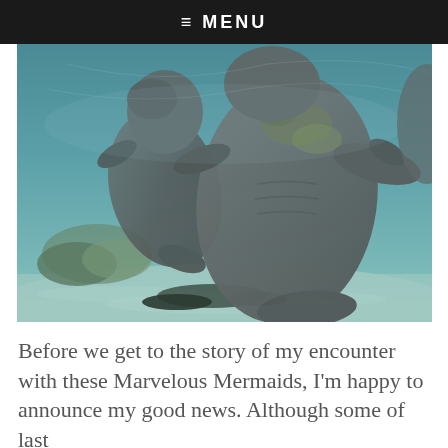≡ MENU
[Figure (photo): Underwater photograph of manatees swimming near a sandy seafloor with seagrass and aquatic vegetation visible. Two manatees are prominently featured in blue-green water.]
Before we get to the story of my encounter with these Marvelous Mermaids, I'm happy to announce my good news. Although some of last